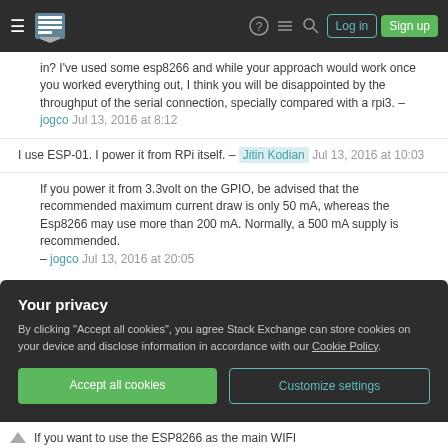Stack Exchange navigation bar with hamburger menu, logo, icons for help, chat, search, Log in and Sign up buttons
in? I've used some esp8266 and while your approach would work once you worked everything out, I think you will be disappointed by the throughput of the serial connection, specially compared with a rpi3. – jogco Jul 13, 2016 at 8:12
I use ESP-01. I power it from RPi itself. – Jitin Kodian Jul 13, 2016 at 10:03
If you power it from 3.3volt on the GPIO, be advised that the recommended maximum current draw is only 50 mA, whereas the Esp8266 may use more than 200 mA. Normally, a 500 mA supply is recommended. – jogco Jul 13, 2016 at 20:05
Your privacy
By clicking "Accept all cookies", you agree Stack Exchange can store cookies on your device and disclose information in accordance with our Cookie Policy.
Accept all cookies
Customize settings
If you want to use the ESP8266 as the main WIFI